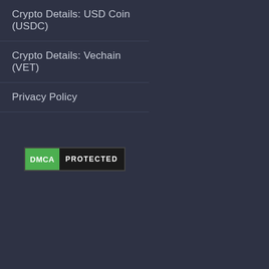Crypto Details: USD Coin (USDC)
Crypto Details: Vechain (VET)
Privacy Policy
[Figure (logo): DMCA Protected badge with green DMCA label and dark PROTECTED text]
Pages
Contact
Sitemap
Cookie Policy
Digital Millennium Copyright Act Notice
Privacy Policy
Crypto Details: Bitcoin (BTC)